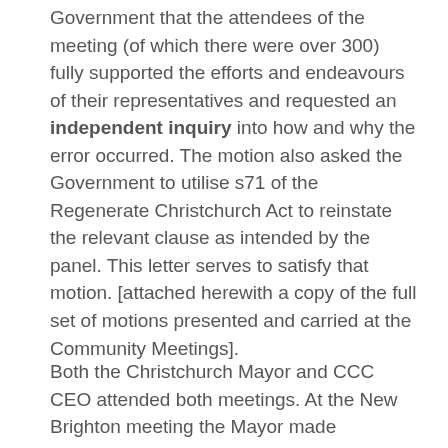Government that the attendees of the meeting (of which there were over 300) fully supported the efforts and endeavours of their representatives and requested an independent inquiry into how and why the error occurred. The motion also asked the Government to utilise s71 of the Regenerate Christchurch Act to reinstate the relevant clause as intended by the panel. This letter serves to satisfy that motion. [attached herewith a copy of the full set of motions presented and carried at the Community Meetings].
Both the Christchurch Mayor and CCC CEO attended both meetings. At the New Brighton meeting the Mayor made